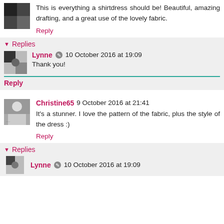This is everything a shirtdress should be! Beautiful, amazing drafting, and a great use of the lovely fabric.
Reply
Replies
Lynne  10 October 2016 at 19:09
Thank you!
Reply
Christine65  9 October 2016 at 21:41
It's a stunner. I love the pattern of the fabric, plus the style of the dress :)
Reply
Replies
Lynne  10 October 2016 at 19:09